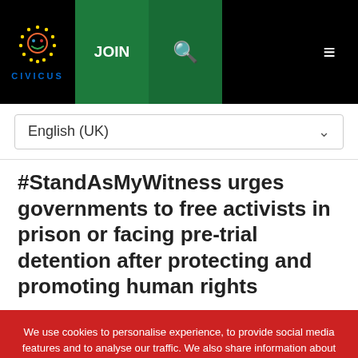[Figure (logo): CIVICUS logo with EU-style circle of stars and colorful face icon above the word CIVICUS in blue]
JOIN   🔍   ≡
English (UK)
#StandAsMyWitness urges governments to free activists in prison or facing pre-trial detention after protecting and promoting human rights
We use cookies to personalise experience, to provide social media features and to analyse our traffic. We also share information about your use of our site with our social media, and analytics partners who may combine it with other information that you've provided to them or that they've collected from your use of their services. You consent to use of cookies if you continue to use this website.
Ok
Decline
Settings